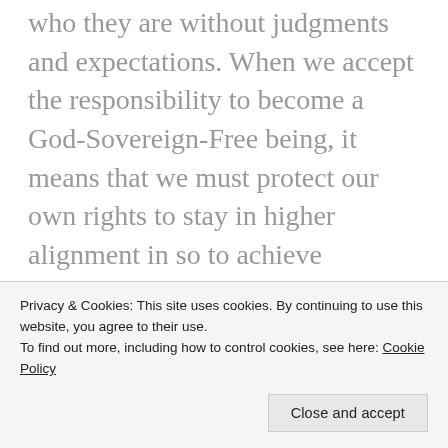who they are without judgments and expectations. When we accept the responsibility to become a God-Sovereign-Free being, it means that we must protect our own rights to stay in higher alignment in so to achieve sovereignty, as well as to protect the rights of others in so they are free to be who they are, having the right to their own personal experiences and perceptions.
Stay awake as we traverse the valleys of the shadow and bring the on the other side of destruction...
Privacy & Cookies: This site uses cookies. By continuing to use this website, you agree to their use.
To find out more, including how to control cookies, see here: Cookie Policy